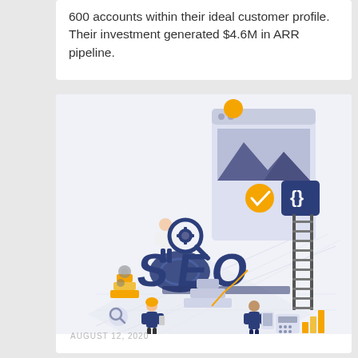600 accounts within their ideal customer profile. Their investment generated $4.6M in ARR pipeline.
[Figure (illustration): SEO isometric illustration showing large 3D letters 'SEO', a person holding a magnifying glass with a gear icon, another person with a laptop, a woman standing with a mobile device, a person in suit with a tablet, a ladder, golden trophy stack, search icon, calculator, bar chart elements, a webpage mockup with checkmark and code brackets icon, and mountain/landscape imagery.]
AUGUST 12, 2020